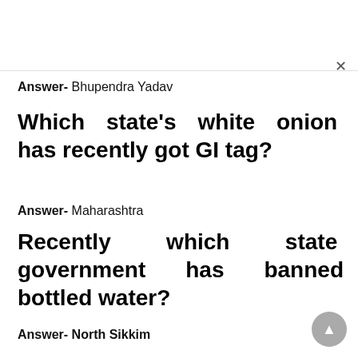Answer- Bhupendra Yadav
Which state's white onion has recently got GI tag?
Answer- Maharashtra
Recently which state government has banned bottled water?
Answer- North Sikkim